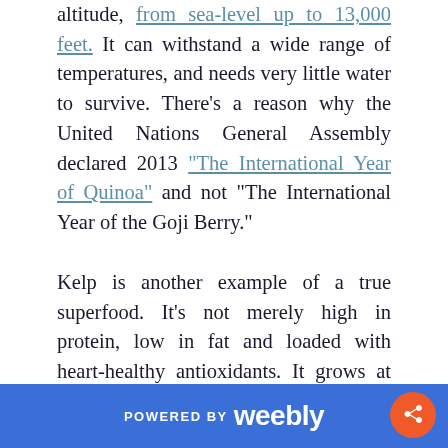altitude, from sea-level up to 13,000 feet. It can withstand a wide range of temperatures, and needs very little water to survive. There's a reason why the United Nations General Assembly declared 2013 "The International Year of Quinoa" and not "The International Year of the Goji Berry."
Kelp is another example of a true superfood. It's not merely high in protein, low in fat and loaded with heart-healthy antioxidants. It grows at turbo speed (9 to 12 feet in three months) without the need for fresh water or fertilizer. Kelp could provide the world with a vast new source of sustainable protein — and potentially reduce
POWERED BY weebly